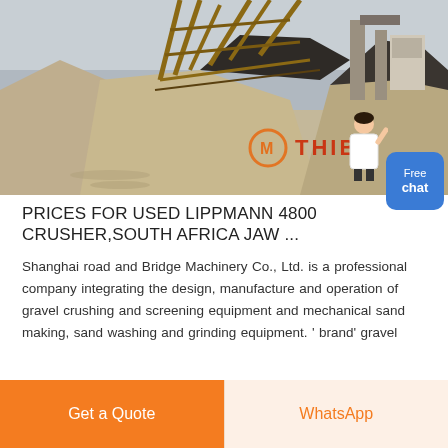[Figure (photo): Outdoor industrial gravel crushing and screening facility with conveyor belts, large piles of sand/gravel, and heavy machinery structures. THIBE brand watermark visible in lower right corner of photo.]
PRICES FOR USED LIPPMANN 4800 CRUSHER,SOUTH AFRICA JAW ...
Shanghai road and Bridge Machinery Co., Ltd. is a professional company integrating the design, manufacture and operation of gravel crushing and screening equipment and mechanical sand making, sand washing and grinding equipment. ' brand' gravel